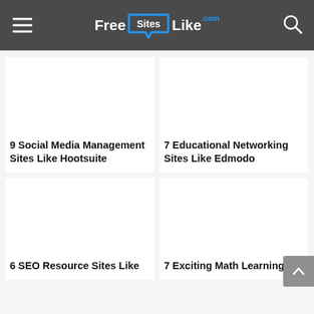FreeSitesLike.com
9 Social Media Management Sites Like Hootsuite
7 Educational Networking Sites Like Edmodo
6 SEO Resource Sites Like
7 Exciting Math Learning